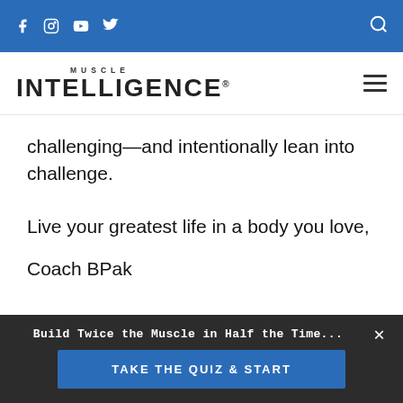Muscle Intelligence — navigation bar with social icons and search
[Figure (logo): Muscle Intelligence logo with MUSCLE in small caps above INTELLIGENCE in large bold caps]
challenging—and intentionally lean into challenge.
Live your greatest life in a body you love,
Coach BPak
Build Twice the Muscle in Half the Time...
TAKE THE QUIZ & START